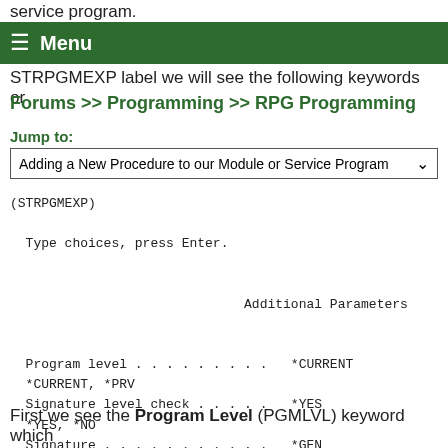service program.
Menu
STRPGMEXP label we will see the following keywords or
Forums >> Programming >> RPG Programming
Jump to:
Adding a New Procedure to our Module or Service Program
(STRPGMEXP)

  Type choices, press Enter.


                              Additional Parameters


  Program level . . . . . . . . .   *CURRENT
  *CURRENT, *PRV
  Signature level check . . . . .   *YES
  *YES, *NO
  Signature . . . . . . . . . . .   *GEN

  Comment . . . . . . . . . . . .
First we see the Program Level (PGMLVL) keyword which